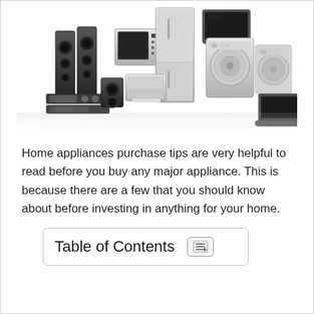[Figure (illustration): Grayscale photo of various home appliances grouped together: speakers, stereo system, microwave, refrigerator, monitor/TV, washing machine, dryer, laptop, and other electronics arranged in a collage style with reflections.]
Home appliances purchase tips are very helpful to read before you buy any major appliance. This is because there are a few that you should know about before investing in anything for your home.
Table of Contents